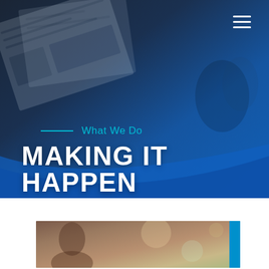[Figure (photo): Dark blue overlay on business/financial documents photo with people in background, serving as hero section background]
≡
What We Do
MAKING IT HAPPEN
[Figure (photo): Partial photo at bottom showing a person with warm tones and a cyan accent bar on the right edge]